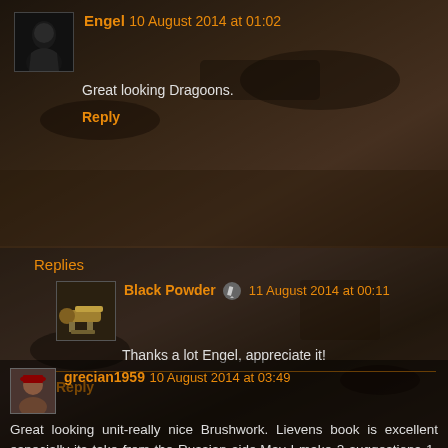[Figure (photo): Battle painting background showing fallen soldiers and military equipment in sepia/brown tones]
Engel 10 August 2014 at 01:02
Great looking Dragoons.
Reply
Replies
Black Powder 11 August 2014 at 00:11
Thanks a lot Engel, appreciate it!
Reply
grecian1959 10 August 2014 at 03:49
Great looking unit-really nice Brushwork. Lievens book is excellent especially its take from the Russian side.May I make 2 suggestions 1-flagpole should be blue 2- the officers epaulettes metal ok. Peter
ps I game with blackpowder using the napoleonic supplements Albion Triumphant 1&2 so far with the